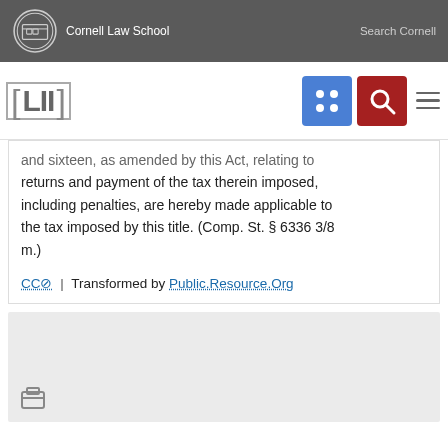Cornell Law School | Search Cornell
[Figure (logo): LII Legal Information Institute logo with navigation icons (grid icon in blue, search icon in red, hamburger menu)]
and sixteen, as amended by this Act, relating to returns and payment of the tax therein imposed, including penalties, are hereby made applicable to the tax imposed by this title. (Comp. St. § 6336 3/8 m.)
CC⊘ | Transformed by Public.Resource.Org
[Figure (screenshot): Gray section area at bottom with partially visible icon and text]